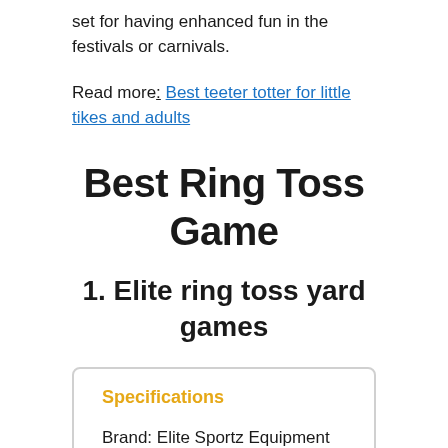set for having enhanced fun in the festivals or carnivals.
Read more: Best teeter totter for little tikes and adults
Best Ring Toss Game
1. Elite ring toss yard games
| Specifications |
| Brand: Elite Sportz Equipment |